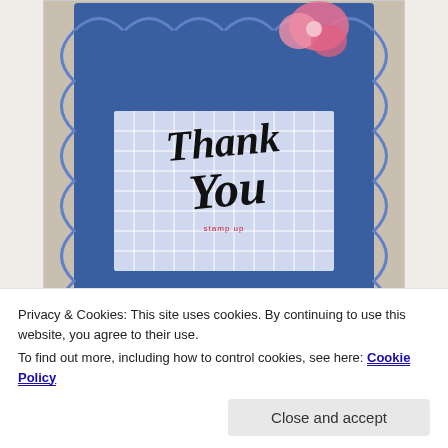[Figure (photo): A blue decorative 'Thank You' card with scalloped/lace-like die-cut border, cursive black 'Thank You' text, and a pink flower in the upper right corner, displayed on a beige fabric surface. Watermark reads: dannscraftingwhims.wordpress.com]
FYI, the third largest frame in Spellbinders 5×7 Matting Basics B perfectly fits the inner rectangle area inside the pierced dots of the Bella Rose Lattice die, allowing for the white corners. The sentiment is embossed on acetate
Privacy & Cookies: This site uses cookies. By continuing to use this website, you agree to their use.
To find out more, including how to control cookies, see here: Cookie Policy
Close and accept